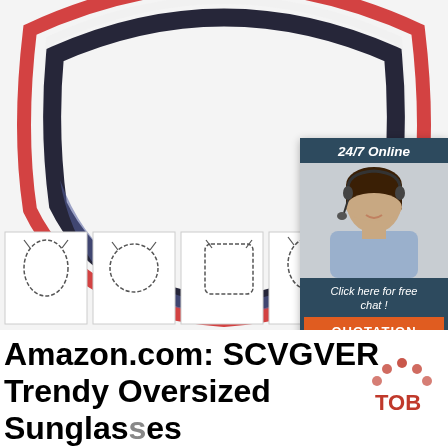[Figure (photo): Product image of oversized sunglasses with red-and-black frame against white background, showing arc/bridge detail with red nose piece. Below the sunglasses are four face-shape thumbnail sketches in bordered boxes. A 24/7 Online chat widget appears on the right side with a customer service agent photo, italic text 'Click here for free chat!', and an orange QUOTATION button.]
Amazon.com: SCVGVER Trendy Oversized Sunglasses for